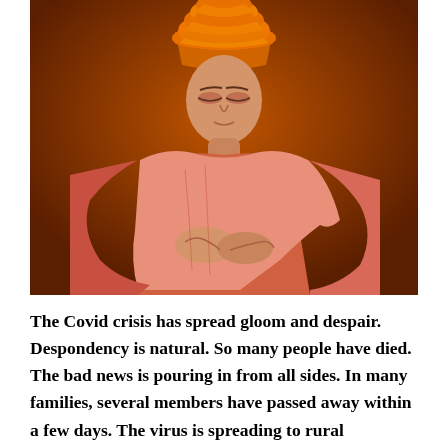[Figure (photo): A person in meditation pose wearing orange/saffron robes and an orange turban, sitting cross-legged with eyes closed, against a dark orange/brown background. The figure appears to be Swami Vivekananda.]
The Covid crisis has spread gloom and despair. Despondency is natural. So many people have died. The bad news is pouring in from all sides. In many families, several members have passed away within a few days. The virus is spreading to rural populations. There is a